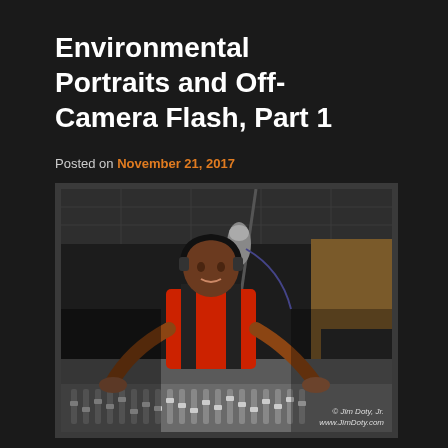Environmental Portraits and Off-Camera Flash, Part 1
Posted on November 21, 2017
[Figure (photo): A man wearing headphones and a black vest over a red shirt sits at a radio/recording studio mixing console, leaning forward with both hands on the faders. A professional microphone on a stand is visible in the foreground. The image has a copyright watermark reading '© Jim Doty, Jr.' and 'www.JimDoty.com'.]